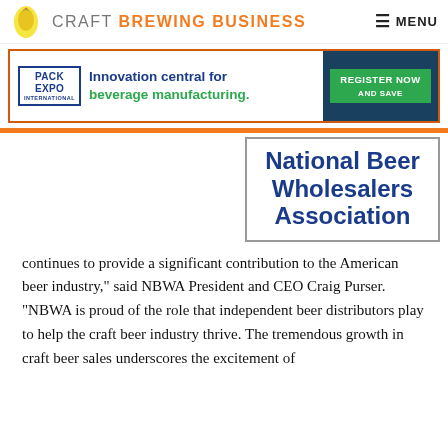CRAFT BREWING BUSINESS  MENU
[Figure (advertisement): Pack Expo International advertisement: Innovation central for beverage manufacturing. Register Now and Save.]
[Figure (logo): National Beer Wholesalers Association logo/text block showing 'National Beer Wholesalers Association' in bold blue text]
continues to provide a significant contribution to the American beer industry," said NBWA President and CEO Craig Purser. "NBWA is proud of the role that independent beer distributors play to help the craft beer industry thrive. The tremendous growth in craft beer sales underscores the excitement of